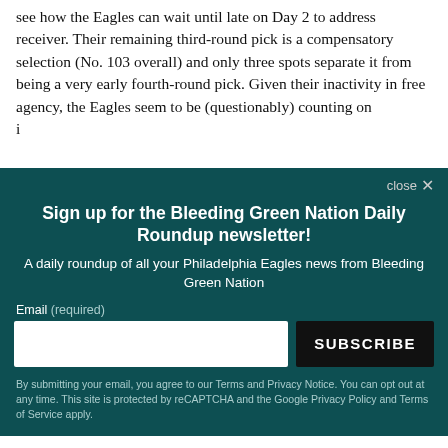see how the Eagles can wait until late on Day 2 to address receiver. Their remaining third-round pick is a compensatory selection (No. 103 overall) and only three spots separate it from being a very early fourth-round pick. Given their inactivity in free agency, the Eagles seem to be (questionably) counting on immediate impact from rookie receivers. If the
Sign up for the Bleeding Green Nation Daily Roundup newsletter!
A daily roundup of all your Philadelphia Eagles news from Bleeding Green Nation
Email (required)
SUBSCRIBE
By submitting your email, you agree to our Terms and Privacy Notice. You can opt out at any time. This site is protected by reCAPTCHA and the Google Privacy Policy and Terms of Service apply.